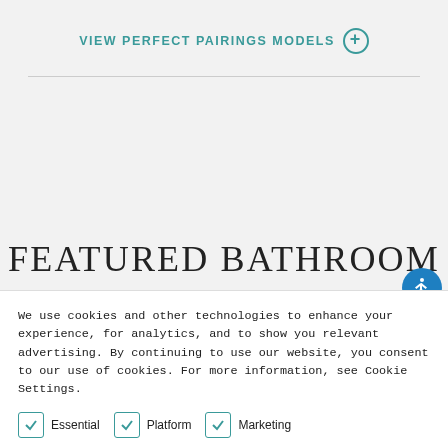VIEW PERFECT PAIRINGS MODELS +
FEATURED BATHROOM
We use cookies and other technologies to enhance your experience, for analytics, and to show you relevant advertising. By continuing to use our website, you consent to our use of cookies. For more information, see Cookie Settings.
Essential
Platform
Marketing
+ Details
CONFIRM SELECTION
CONFIRM ALL